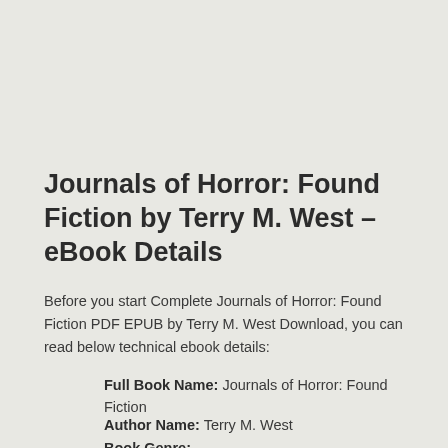Journals of Horror: Found Fiction by Terry M. West – eBook Details
Before you start Complete Journals of Horror: Found Fiction PDF EPUB by Terry M. West Download, you can read below technical ebook details:
Full Book Name: Journals of Horror: Found Fiction
Author Name: Terry M. West
Book Genre: